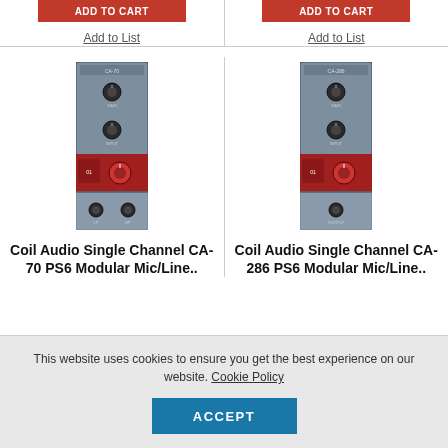Add to Cart (button, left)
Add to Cart (button, right)
Add to List
Add to List
[Figure (photo): Coil Audio Single Channel CA-70 PS6 modular mic/line preamp module, gray metal with red section, knobs visible]
[Figure (photo): Coil Audio Single Channel CA-286 PS6 modular mic/line preamp module, gray metal with red section, knobs visible]
Coil Audio Single Channel CA-70 PS6 Modular Mic/Line..
Coil Audio Single Channel CA-286 PS6 Modular Mic/Line..
This website uses cookies to ensure you get the best experience on our website. Cookie Policy
ACCEPT